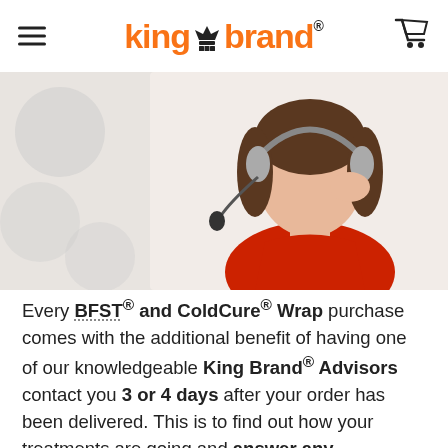King Brand®
[Figure (photo): Woman wearing a headset microphone, dressed in red, touching the headset with her hand — a customer service / advisor photo]
Every BFST® and ColdCure® Wrap purchase comes with the additional benefit of having one of our knowledgeable King Brand® Advisors contact you 3 or 4 days after your order has been delivered. This is to find out how your treatments are going and answer any questions you may have. Our Advisors have been thoroughly trained on BFST® and ColdCure® technology and treatments, as well as various Ankle injuries and conditions. Our Advisors spend all day every day giving people treatment advice and guidance. They truly care about your recovery. While one of